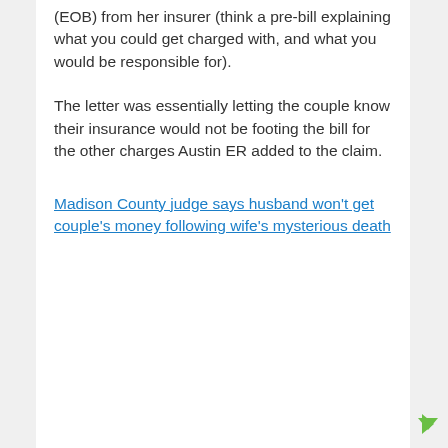(EOB) from her insurer (think a pre-bill explaining what you could get charged with, and what you would be responsible for).
The letter was essentially letting the couple know their insurance would not be footing the bill for the other charges Austin ER added to the claim.
Madison County judge says husband won't get couple's money following wife's mysterious death